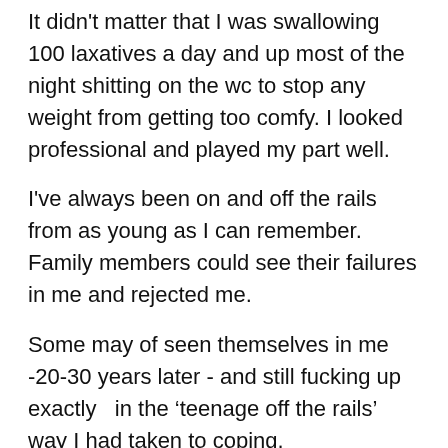It didn't matter that I was swallowing 100 laxatives a day and up most of the night shitting on the wc to stop any weight from getting too comfy. I looked professional and played my part well.
I've always been on and off the rails from as young as I can remember. Family members could see their failures in me and rejected me.
Some may of seen themselves in me -20-30 years later - and still fucking up exactly  in the ‘teenage off the rails’ way I had taken to coping.
The only difference- they were now adults. I didn’t make them look good.
It got to the point where I couldn’t work. Not because I